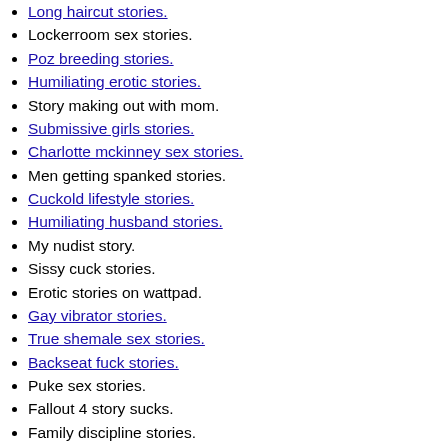Long haircut stories.
Lockerroom sex stories.
Poz breeding stories.
Humiliating erotic stories.
Story making out with mom.
Submissive girls stories.
Charlotte mckinney sex stories.
Men getting spanked stories.
Cuckold lifestyle stories.
Humiliating husband stories.
My nudist story.
Sissy cuck stories.
Erotic stories on wattpad.
Gay vibrator stories.
True shemale sex stories.
Backseat fuck stories.
Puke sex stories.
Fallout 4 story sucks.
Family discipline stories.
Masturbation stories caught.
Wife gone wild stories.
Sir snuff stories.
Babysitter blowjob stories.
Cock tf stories.
Adult tickling stories.